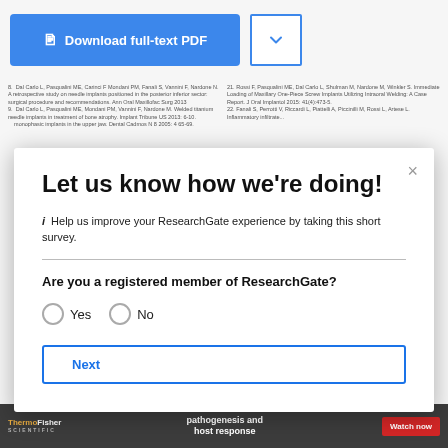[Figure (screenshot): Download full-text PDF button (blue) and dropdown arrow button]
8. Dal Carlo L, Pasqualini ME, Carinci F Mondani PM, Fanali S, Vannini F, Nardone N. A retrospective study on needle implants positioned in the posterior inferior sector: surgical procedure and recommendations. Ann Oral Maxillofac Surg 2013
9. Dal Carlo L, Pasqualini ME, Mondani PM, Vannini F, Nardone M. Welded titanium needle implants in treatment of bone atrophy. Implant Tribune US 2013: 6-10.
20. monophasic implants in the upper jaw. Dental Cadmos N 8 2005: 4 65-69.
21. Rossi F, Pasqualini ME, Dal Carlo L, Shulman M, Nardone M, Winkler S. Immediate Loading of Maxillary One-Piece Screw Implants Utilizing Intraoral Welding: A Case Report. J Oral Implantol 2015: 41(4):473-5.
22. Fanali S, Perrotti V, Riccardi L, Piattelli A, Piccinilli M, Rossi L, Artese L. Inflammatory infiltrate...
Let us know how we're doing!
i Help us improve your ResearchGate experience by taking this short survey.
Are you a registered member of ResearchGate?
Yes   No
Next
[Figure (screenshot): ThermoFisher Scientific banner ad with text 'pathogenesis and host response' and 'Watch now' button]